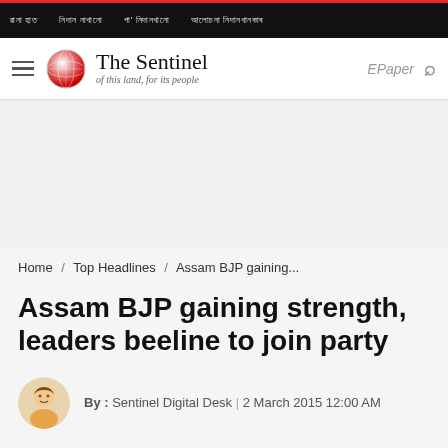ৱানা হাত  /  নিদান নাখানো  /  পা' নিদানখানো  /  আলোচনা নিদানখানকাৰ
[Figure (logo): The Sentinel newspaper logo - circular red globe icon with text 'The Sentinel of this land, for its people']
Home / Top Headlines / Assam BJP gaining...
Assam BJP gaining strength, leaders beeline to join party
By : Sentinel Digital Desk | 2 March 2015 12:00 AM